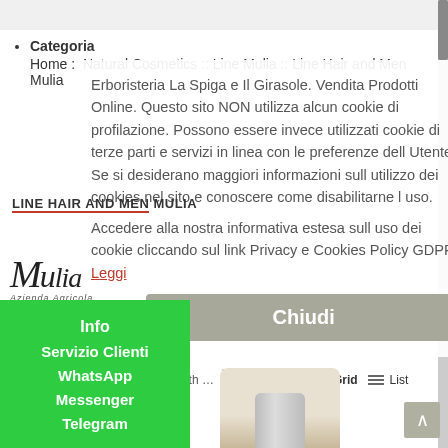Categoria
Home :: Natural Cosmetics :: Line Mulia :: Line Hair and Men Mulia
LINE HAIR AND MEN MULIA
[Figure (logo): Mulia Azienda Agricola handwritten-style logo]
Erboristeria La Spiga e Il Girasole. Vendita Prodotti Online. Questo sito NON utilizza alcun cookie di profilazione. Possono essere invece utilizzati cookie di terze parti e servizi in linea con le preferenze dell Utente. Se si desiderano maggiori informazioni sull utilizzo dei cookies nel sito e conoscere come disabilitarne l uso. Accedere alla nostra informativa estesa sull uso dei cookie cliccando sul link Privacy e Cookies Policy GDPR. Leggi
Filter Results
Rifiuta
Chiudi
Info
Servizio Clienti
WhatsApp
Messenger
Telegram